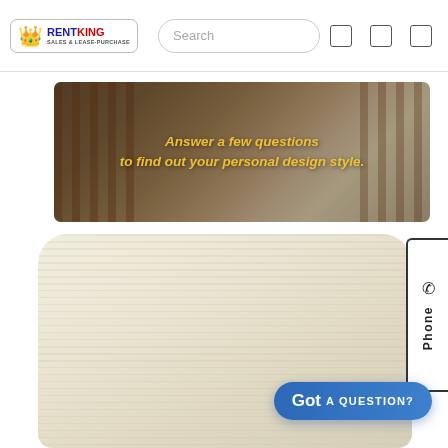[Figure (screenshot): Rent King logo with crown emoji, red and blue text, Sales & Lease-Purchase subtitle]
[Figure (photo): Search bar with placeholder text 'Search' and three icon buttons on the right]
[Figure (photo): Banner image of an interior room with curtains and text overlay: 'Answer a few questions to find out your personal design style.']
[Figure (photo): Close-up photo of a cream/beige textured woven throw pillow]
[Figure (other): Phone tab on right edge with vertical 'Phone' label and phone icon]
Got A QUESTION?